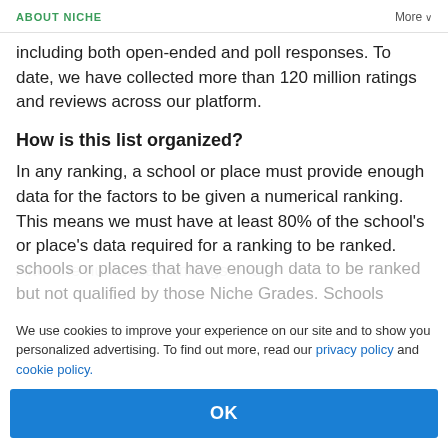ABOUT NICHE   More
including both open-ended and poll responses. To date, we have collected more than 120 million ratings and reviews across our platform.
How is this list organized?
In any ranking, a school or place must provide enough data for the factors to be given a numerical ranking. This means we must have at least 80% of the school's or place's data required for a ranking to be ranked. After the numerical rankings end,
We use cookies to improve your experience on our site and to show you personalized advertising. To find out more, read our privacy policy and cookie policy.
OK